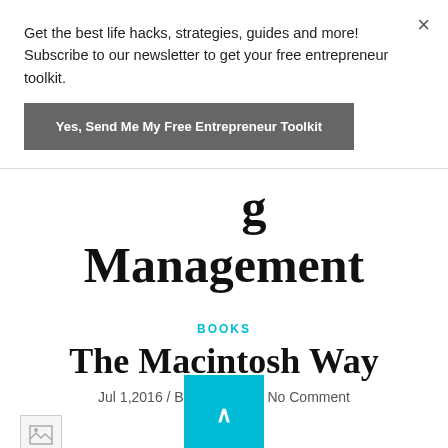Get the best life hacks, strategies, guides and more! Subscribe to our newsletter to get your free entrepreneur toolkit.
Yes, Send Me My Free Entrepreneur Toolkit
Management
BOOKS
The Macintosh Way
Jul 1,2016 / By Jeffrey Ito / No Comment
[Figure (photo): Broken image placeholder]
The Macintosh Way is Guy Kawasaki's vision of